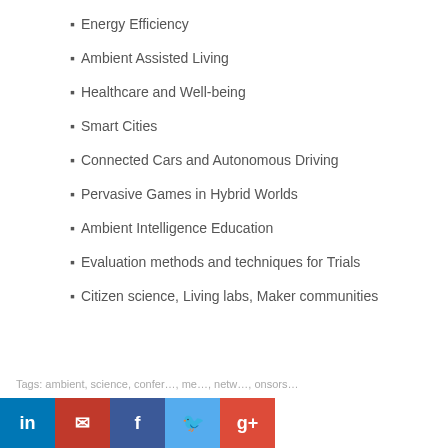Energy Efficiency
Ambient Assisted Living
Healthcare and Well-being
Smart Cities
Connected Cars and Autonomous Driving
Pervasive Games in Hybrid Worlds
Ambient Intelligence Education
Evaluation methods and techniques for Trials
Citizen science, Living labs, Maker communities
Tags: ambient, science, confer…, me…, netw…, onsors…